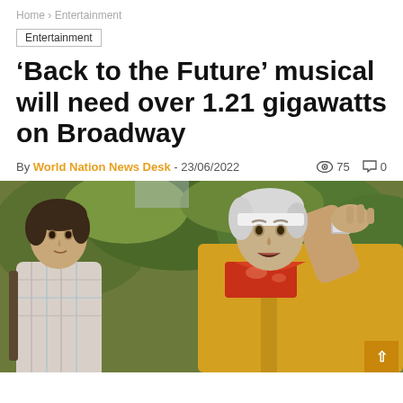Home > Entertainment
Entertainment
'Back to the Future' musical will need over 1.21 gigawatts on Broadway
By World Nation News Desk - 23/06/2022  👁 75  💬 0
[Figure (photo): Two men from the Back to the Future movie: a younger man in a plaid shirt on the left looking at an older man in a yellow jacket on the right who is touching his forehead, with trees in the background.]